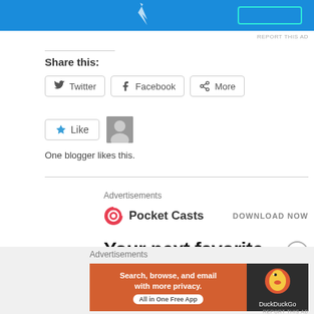[Figure (screenshot): Blue advertisement banner at top of page]
REPORT THIS AD
Share this:
[Figure (screenshot): Twitter share button]
[Figure (screenshot): Facebook share button]
[Figure (screenshot): More share button]
[Figure (screenshot): Like button with star icon and avatar]
One blogger likes this.
Advertisements
[Figure (screenshot): Pocket Casts advertisement with logo and DOWNLOAD NOW link]
Your next favorite
Advertisements
[Figure (screenshot): DuckDuckGo advertisement - Search, browse, and email with more privacy. All in One Free App]
REPORT THIS AD